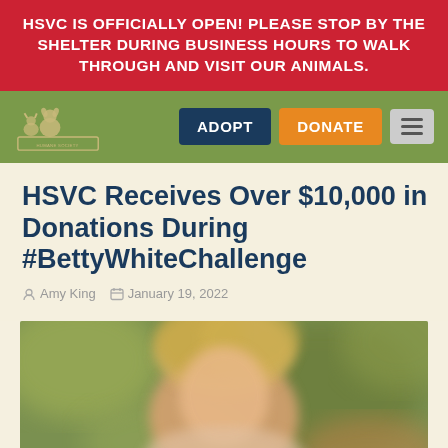HSVC IS OFFICIALLY OPEN! PLEASE STOP BY THE SHELTER DURING BUSINESS HOURS TO WALK THROUGH AND VISIT OUR ANIMALS.
[Figure (logo): Humane Society of Ventura County logo with animal silhouettes]
ADOPT
DONATE
HSVC Receives Over $10,000 in Donations During #BettyWhiteChallenge
Amy King   January 19, 2022
[Figure (photo): Blurred photo of a woman with blonde hair outdoors with green and brown bokeh background]